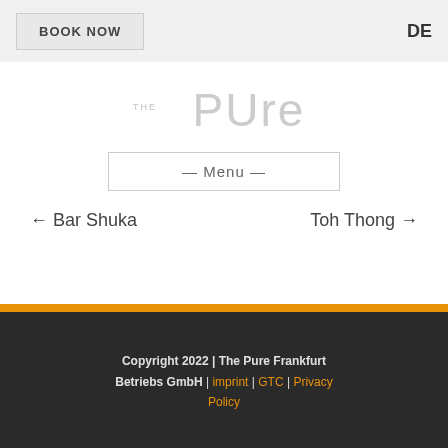BOOK NOW | DE
[Figure (logo): THE PURE hotel logo in light gray]
— Menu —
← Bar Shuka
Toh Thong →
Copyright 2022 | The Pure Frankfurt Betriebs GmbH | imprint | GTC | Privacy Policy